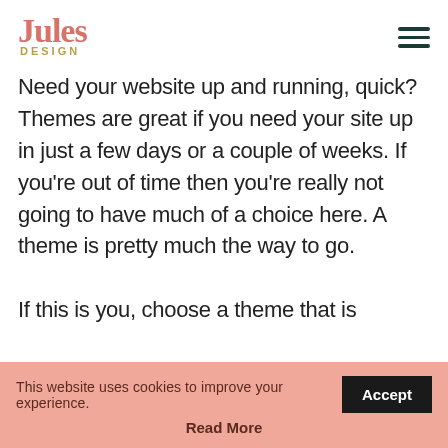Jules Design
Need your website up and running, quick? Themes are great if you need your site up in just a few days or a couple of weeks. If you're out of time then you're really not going to have much of a choice here. A theme is pretty much the way to go.

If this is you, choose a theme that is
This website uses cookies to improve your experience.  Accept  Read More